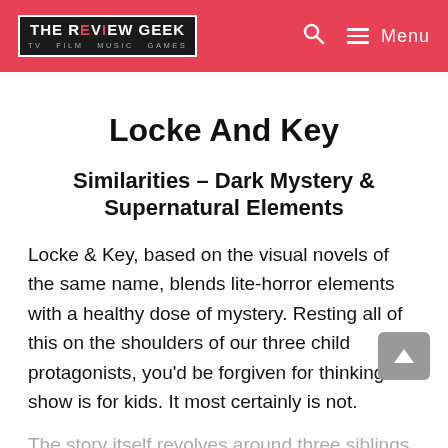THE REVIEW GEEK — TV FILM MUSIC GAMES — Menu
Locke And Key
Similarities – Dark Mystery & Supernatural Elements
Locke & Key, based on the visual novels of the same name, blends lite-horror elements with a healthy dose of mystery. Resting all of this on the shoulders of our three child protagonists, you'd be forgiven for thinking this show is for kids. It most certainly is not.
The story itself revolves around three siblings, Bode, Kensey and Tyler, who move back into their childhood